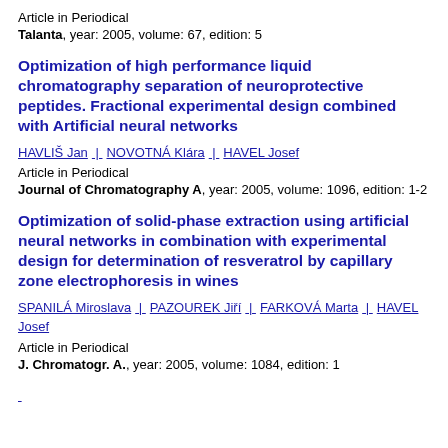Article in Periodical
Talanta, year: 2005, volume: 67, edition: 5
Optimization of high performance liquid chromatography separation of neuroprotective peptides. Fractional experimental design combined with Artificial neural networks
HAVLIŠ Jan | NOVOTNÁ Klára | HAVEL Josef
Article in Periodical
Journal of Chromatography A, year: 2005, volume: 1096, edition: 1-2
Optimization of solid-phase extraction using artificial neural networks in combination with experimental design for determination of resveratrol by capillary zone electrophoresis in wines
SPANILÁ Miroslava | PAZOUREK Jiří | FARKOVÁ Marta | HAVEL Josef
Article in Periodical
J. Chromatogr. A., year: 2005, volume: 1084, edition: 1